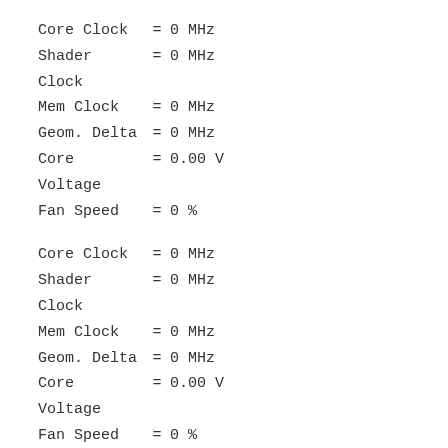Core Clock    =  0 MHz
Shader Clock  =   0 MHz
Mem Clock     =  0 MHz
Geom. Delta   =  0 MHz
Core Voltage  = 0.00 V
Fan Speed     =  0 %
Core Clock    =  0 MHz
Shader Clock  =   0 MHz
Mem Clock     =  0 MHz
Geom. Delta   =  0 MHz
Core Voltage  = 0.00 V
Fan Speed     =  0 %
Core Clock    =  0 MHz
Shader Clock  =   0 MHz
Mem Clock     =  0 MHz
Geom. Delta   =  0 MHz
Core Voltage  = 0.00 V
Fan Speed     =  0 %
Core Clock    =  0 MHz